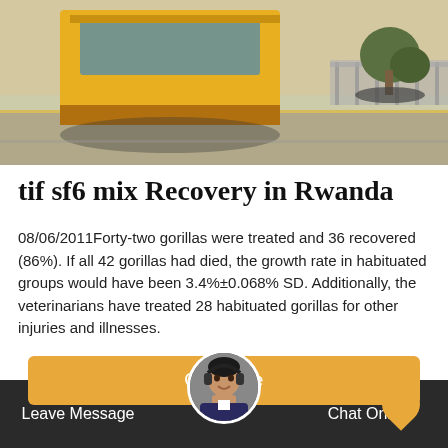[Figure (photo): Outdoor scene showing a yellow truck on a road with trees and a concrete median visible, taken from above/behind the truck.]
tif sf6 mix Recovery in Rwanda
08/06/2011Forty-two gorillas were treated and 36 recovered (86%). If all 42 gorillas had died, the growth rate in habituated groups would have been 3.4%±0.068% SD. Additionally, the veterinarians have treated 28 habituated gorillas for other injuries and illnesses.
Get Price
Leave Message
Chat Online